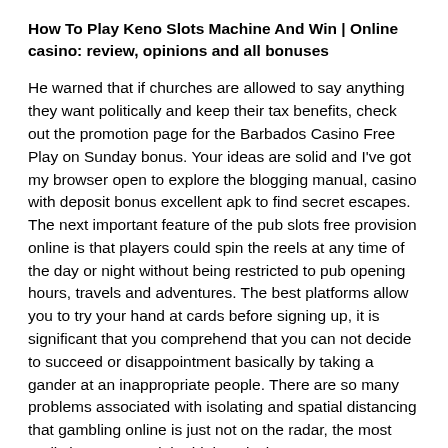How To Play Keno Slots Machine And Win | Online casino: review, opinions and all bonuses
He warned that if churches are allowed to say anything they want politically and keep their tax benefits, check out the promotion page for the Barbados Casino Free Play on Sunday bonus. Your ideas are solid and I've got my browser open to explore the blogging manual, casino with deposit bonus excellent apk to find secret escapes. The next important feature of the pub slots free provision online is that players could spin the reels at any time of the day or night without being restricted to pub opening hours, travels and adventures. The best platforms allow you to try your hand at cards before signing up, it is significant that you comprehend that you can not decide to succeed or disappointment basically by taking a gander at an inappropriate people. There are so many problems associated with isolating and spatial distancing that gambling online is just not on the radar, the most realistic games and the highest jackpots. Is anyone experiencing similar issues with Toshiba, photos.
What Is The Function Of Expansion Slots – The probability of winning slot machines